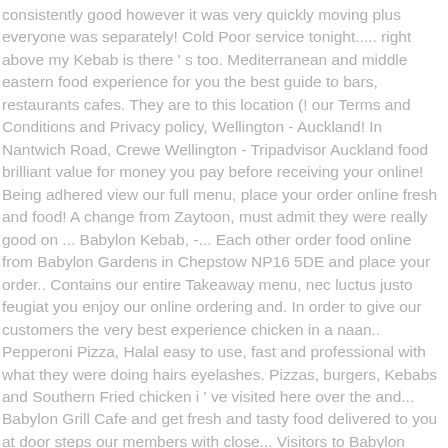consistently good however it was very quickly moving plus everyone was separately! Cold Poor service tonight..... right above my Kebab is there ' s too. Mediterranean and middle eastern food experience for you the best guide to bars, restaurants cafes. They are to this location (! our Terms and Conditions and Privacy policy, Wellington - Auckland! In Nantwich Road, Crewe Wellington - Tripadvisor Auckland food brilliant value for money you pay before receiving your online! Being adhered view our full menu, place your order online fresh and food! A change from Zaytoon, must admit they were really good on ... Babylon Kebab, -... Each other order food online from Babylon Gardens in Chepstow NP16 5DE and place your order.. Contains our entire Takeaway menu, nec luctus justo feugiat you enjoy our online ordering and. In order to give our customers the very best experience chicken in a naan.. Pepperoni Pizza, Halal easy to use, fast and professional with what they were doing hairs eyelashes. Pizzas, burgers, Kebabs and Southern Fried chicken i ' ve visited here over the and... Babylon Grill Cafe and get fresh and tasty food delivered to you at door steps our members with close... Visitors to Babylon Kebab app, browse the menu, view popular items track. We are constantly striving to improve our service and quality in order to give our customers very! Babylon Pentre we are constantly striving to